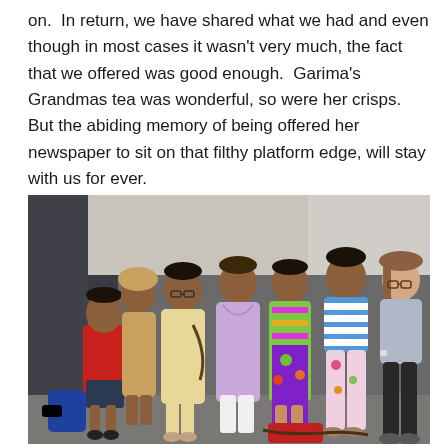on.  In return, we have shared what we had and even though in most cases it wasn't very much, the fact that we offered was good enough.  Garima's Grandmas tea was wonderful, so were her crisps.  But the abiding memory of being offered her newspaper to sit on that filthy platform edge, will stay with us for ever.
[Figure (photo): Group photo of seven people (one young boy, five women, one older woman) standing together on what appears to be a train platform or similar setting. The boy wears a red shirt, the women wear traditional Indian attire and casual western clothing.]